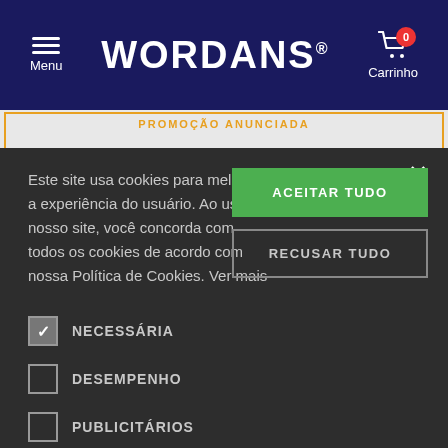Menu | WORDANS® | Carrinho 0
[Figure (screenshot): Wordans e-commerce website cookie consent overlay on dark background. Header shows hamburger menu, WORDANS logo, and cart icon with badge 0.]
Este site usa cookies para melhorar a experiência do usuário. Ao usar nosso site, você concorda com todos os cookies de acordo com nossa Política de Cookies. Ver mais
ACEITAR TUDO
RECUSAR TUDO
NECESSÁRIA
DESEMPENHO
PUBLICITÁRIOS
FUNCIONALIDADE